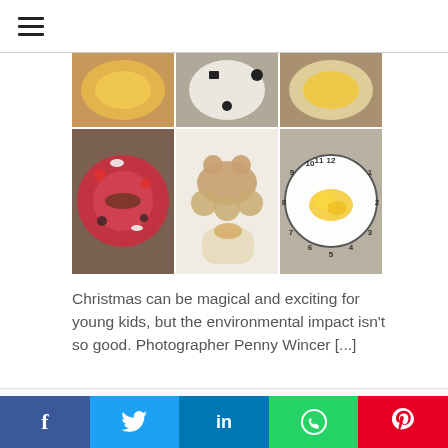hamburger menu icon
[Figure (photo): Grid of 6 food photos showing colorful children's meal plates including a red plate with desserts and fruit, a bear-shaped wooden board with cookies and dipping sauce, a clock-face plate with scrambled eggs, and close-ups of various kids' meals on a wooden table background.]
Christmas can be magical and exciting for young kids, but the environmental impact isn't so good. Photographer Penny Wincer [...]
This website uses cookies to improve your experience. We'll assume you're ok with this, but you can opt-out if you wish.
Social share bar: Facebook, Twitter, LinkedIn, WhatsApp, Pinterest